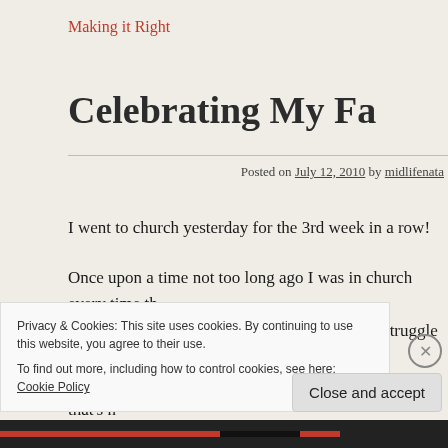Making it Right
Celebrating My Fa
Posted on July 12, 2010 by midlifenata
I went to church yesterday for the 3rd week in a row!
Once upon a time not too long ago I was in church every time th wanted to be there. Then I acknowledged my struggle and that confines of a church building so I didn't go at all. Well that's n necessary I drove through the parking lot and pressed the brake ile nin el
Privacy & Cookies: This site uses cookies. By continuing to use this website, you agree to their use. To find out more, including how to control cookies, see here: Cookie Policy
Close and accept